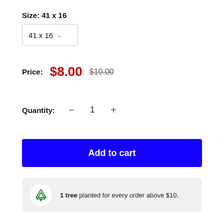Size: 41 x 16
41 x 16
Price: $8.00 $10.00
Quantity: − 1 +
Add to cart
1 tree planted for every order above $10.